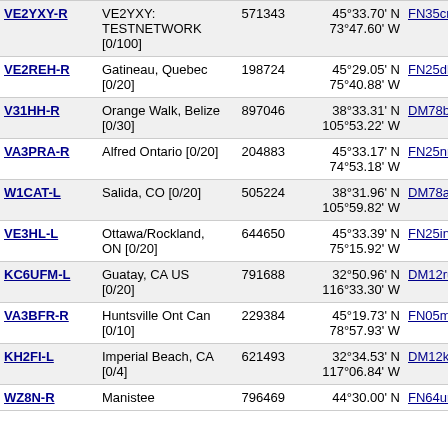| Callsign | Location | Node | Coordinates | Grid | Freq |
| --- | --- | --- | --- | --- | --- |
| VE2YXY-R | VE2YXY: TESTNETWORK [0/100] | 571343 | 45°33.70' N 73°47.60' W | FN35cn | 5467.9 |
| VE2REH-R | Gatineau, Quebec [0/20] | 198724 | 45°29.05' N 75°40.88' W | FN25dl | 5468.1 147 |
| V31HH-R | Orange Walk, Belize [0/30] | 897046 | 38°33.31' N 105°53.22' W | DM78bn | 5470.0 433 |
| VA3PRA-R | Alfred Ontario [0/20] | 204883 | 45°33.17' N 74°53.18' W | FN25nn | 5470.2 |
| W1CAT-L | Salida, CO [0/20] | 505224 | 38°31.96' N 105°59.82' W | DM78am | 5471.6 |
| VE3HL-L | Ottawa/Rockland, ON [0/20] | 644650 | 45°33.39' N 75°15.92' W | FN25in | 5471.7 |
| KC6UFM-L | Guatay, CA US [0/20] | 791688 | 32°50.96' N 116°33.30' W | DM12ru | 5472.8 |
| VA3BFR-R | Huntsville Ont Can [0/10] | 229384 | 45°19.73' N 78°57.93' W | FN05mh | 5473.3 145 |
| KH2FI-L | Imperial Beach, CA [0/4] | 621493 | 32°34.53' N 117°06.84' W | DM12kn | 5477.8 |
| WZ8N-R | Manistee | 796469 | 44°30.00' N | FN64um | 5480.7 |